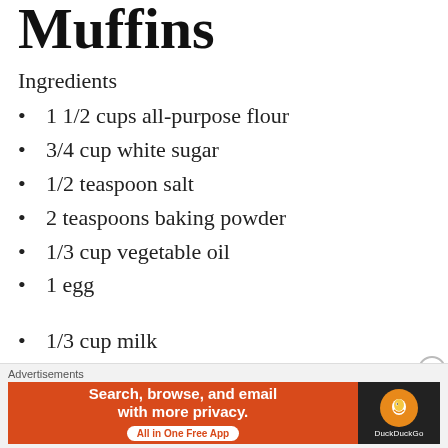Muffins
Ingredients
1 1/2 cups all-purpose flour
3/4 cup white sugar
1/2 teaspoon salt
2 teaspoons baking powder
1/3 cup vegetable oil
1 egg
1/3 cup milk
1 cup fresh blueberries
1/2 cup white sugar
1/3 cup all-purpose flour
Advertisements
[Figure (screenshot): DuckDuckGo advertisement banner: orange-red background with text 'Search, browse, and email with more privacy. All in One Free App' and DuckDuckGo logo on dark background.]